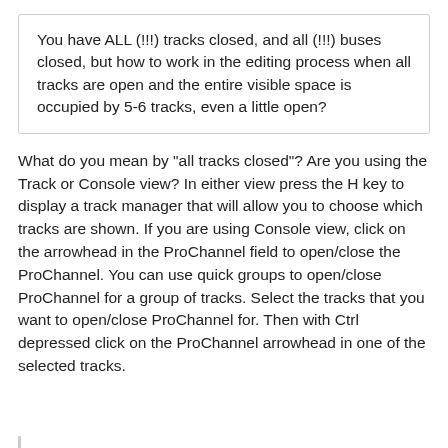You have ALL (!!!) tracks closed, and all (!!!) buses closed, but how to work in the editing process when all tracks are open and the entire visible space is occupied by 5-6 tracks, even a little open?
What do you mean by "all tracks closed"?  Are you using the Track or Console view? In either view press the H key to display a track manager that will allow you to choose which tracks are shown. If you are using Console view, click on the arrowhead in the ProChannel field to open/close the ProChannel. You can use quick groups to open/close ProChannel for a group of tracks. Select the tracks that you want to open/close ProChannel for. Then with Ctrl depressed click on the ProChannel arrowhead in one of the selected tracks.